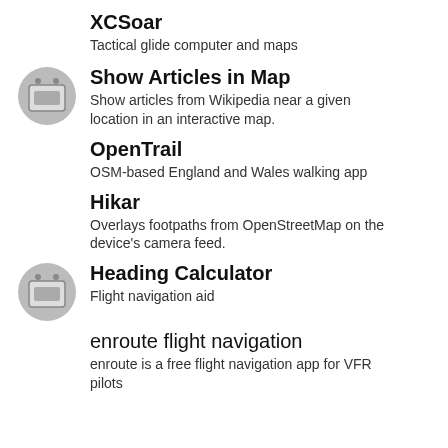XCSoar
Tactical glide computer and maps
Show Articles in Map
Show articles from Wikipedia near a given location in an interactive map.
OpenTrail
OSM-based England and Wales walking app
Hikar
Overlays footpaths from OpenStreetMap on the device's camera feed.
Heading Calculator
Flight navigation aid
enroute flight navigation
enroute is a free flight navigation app for VFR pilots